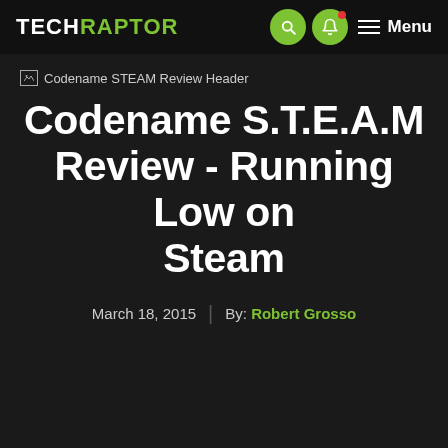TechRaptor — Menu
[Figure (other): Broken image placeholder for Codename STEAM Review Header]
Codename S.T.E.A.M Review - Running Low on Steam
March 18, 2015 | By: Robert Grosso